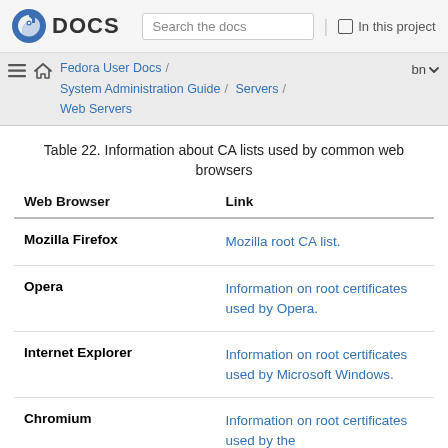Fedora DOCS — Search the docs | In this project
Fedora User Docs / System Administration Guide / Servers / Web Servers — bn
Table 22. Information about CA lists used by common web browsers
| Web Browser | Link |
| --- | --- |
| Mozilla Firefox | Mozilla root CA list. |
| Opera | Information on root certificates used by Opera. |
| Internet Explorer | Information on root certificates used by Microsoft Windows. |
| Chromium | Information on root certificates used by the |